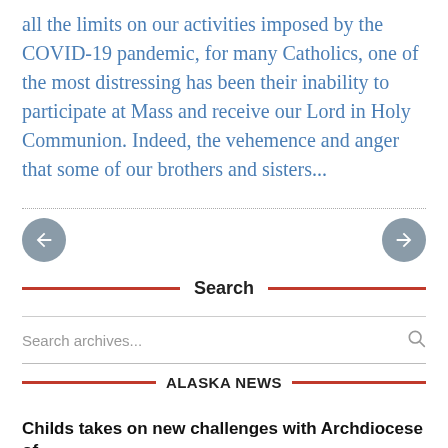all the limits on our activities imposed by the COVID-19 pandemic, for many Catholics, one of the most distressing has been their inability to participate at Mass and receive our Lord in Holy Communion. Indeed, the vehemence and anger that some of our brothers and sisters...
Search
Search archives...
ALASKA NEWS
Childs takes on new challenges with Archdiocese of